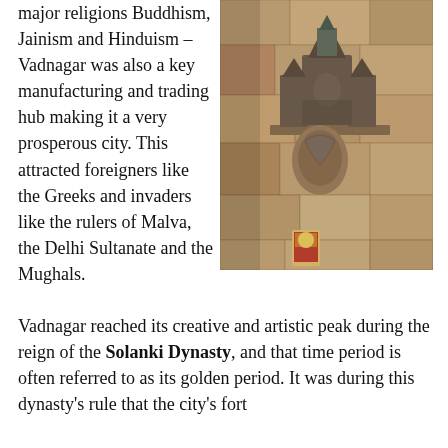major religions Buddhism, Jainism and Hinduism – Vadnagar was also a key manufacturing and trading hub making it a very prosperous city. This attracted foreigners like the Greeks and invaders like the rulers of Malva, the Delhi Sultanate and the Mughals.
[Figure (photo): A stone temple wall with carved architectural relief sculpture showing a small temple structure with figures, set against large sandstone blocks. A small devotional image sits at the base.]
Vadnagar reached its creative and artistic peak during the reign of the Solanki Dynasty, and that time period is often referred to as its golden period. It was during this dynasty's rule that the city's fort